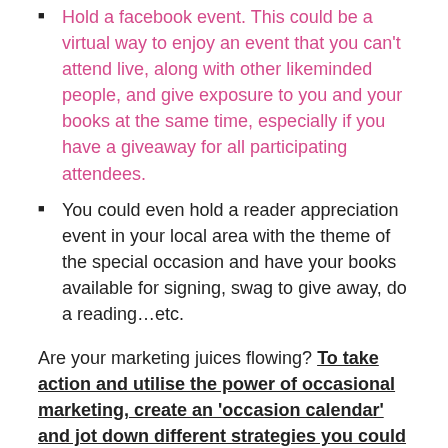Hold a facebook event. This could be a virtual way to enjoy an event that you can't attend live, along with other likeminded people, and give exposure to you and your books at the same time, especially if you have a giveaway for all participating attendees.
You could even hold a reader appreciation event in your local area with the theme of the special occasion and have your books available for signing, swag to give away, do a reading…etc.
Are your marketing juices flowing? To take action and utilise the power of occasional marketing, create an 'occasion calendar' and jot down different strategies you could employ around the time of each occasion. What occasions suit the themes of your book? Maybe brainstorm with some friends and help each other come